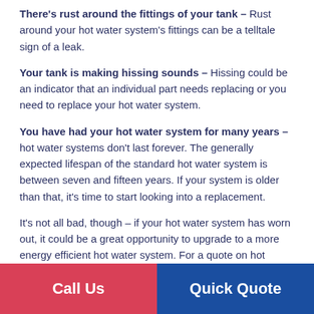There's rust around the fittings of your tank – Rust around your hot water system's fittings can be a telltale sign of a leak.
Your tank is making hissing sounds – Hissing could be an indicator that an individual part needs replacing or you need to replace your hot water system.
You have had your hot water system for many years – hot water systems don't last forever. The generally expected lifespan of the standard hot water system is between seven and fifteen years. If your system is older than that, it's time to start looking into a replacement.
It's not all bad, though – if your hot water system has worn out, it could be a great opportunity to upgrade to a more energy efficient hot water system. For a quote on hot
Call Us | Quick Quote